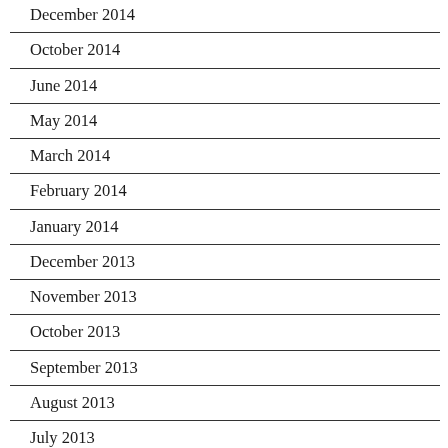December 2014
October 2014
June 2014
May 2014
March 2014
February 2014
January 2014
December 2013
November 2013
October 2013
September 2013
August 2013
July 2013